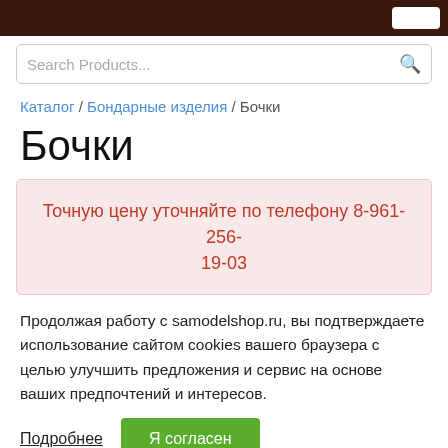Search Products...
Каталог / Бондарные изделия / Бочки
Бочки
Точную цену уточняйте по телефону 8-961-256-19-03
Продолжая работу с samodelshop.ru, вы подтверждаете использование сайтом cookies вашего браузера с целью улучшить предложения и сервис на основе ваших предпочтений и интересов.
Подробнее  Я согласен